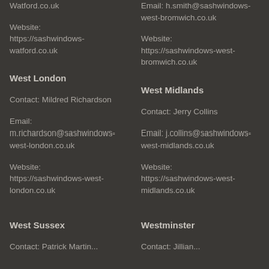Watford.co.uk
Website:
https://sashwindows-watford.co.uk
Email: h.smith@sashwindows-west-bromwich.co.uk
Website:
https://sashwindows-west-bromwich.co.uk
West London
Contact: Mildred Richardson
Email:
m.richardson@sashwindows-west-london.co.uk
Website:
https://sashwindows-west-london.co.uk
West Midlands
Contact: Jerry Collins
Email: j.collins@sashwindows-west-midlands.co.uk
Website:
https://sashwindows-west-midlands.co.uk
West Sussex
Westminster
Contact: Patrick Martin...
Contact: Jillian...